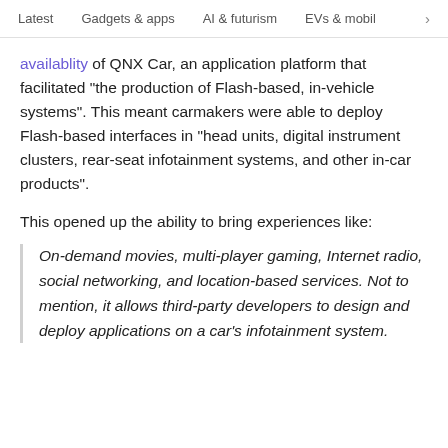Latest   Gadgets & apps   AI & futurism   EVs & mobil  >
availablity of QNX Car, an application platform that facilitated “the production of Flash-based, in-vehicle systems”. This meant carmakers were able to deploy Flash-based interfaces in “head units, digital instrument clusters, rear-seat infotainment systems, and other in-car products”.
This opened up the ability to bring experiences like:
On-demand movies, multi-player gaming, Internet radio, social networking, and location-based services. Not to mention, it allows third-party developers to design and deploy applications on a car’s infotainment system.